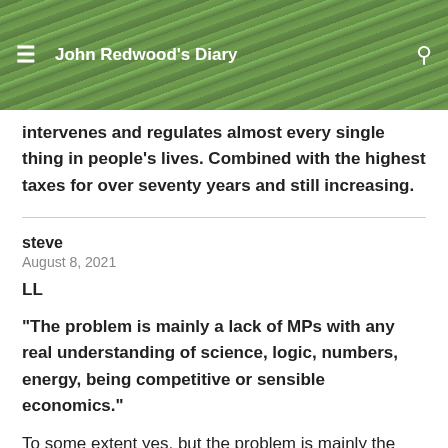John Redwood's Diary
intervenes and regulates almost every single thing in people's lives. Combined with the highest taxes for over seventy years and still increasing.
steve
August 8, 2021
LL
“The problem is mainly a lack of MPs with any real understanding of science, logic, numbers, energy, being competitive or sensible economics.”
To some extent yes, but the problem is mainly the fact that